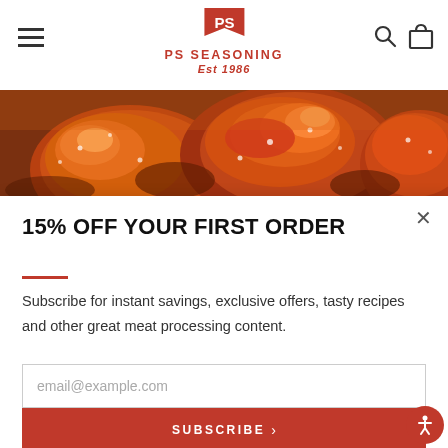PS SEASONING Est 1986
[Figure (photo): Close-up of glazed, seasoned chicken pieces with a rich reddish-brown color]
15% OFF YOUR FIRST ORDER
Subscribe for instant savings, exclusive offers, tasty recipes and other great meat processing content.
email@example.com
SUBSCRIBE